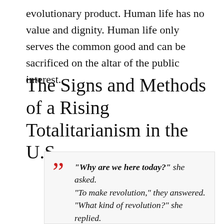evolutionary product. Human life has no value and dignity. Human life only serves the common good and can be sacrificed on the altar of the public interest.
The Signs and Methods of a Rising Totalitarianism in the U.S.
“Why are we here today?” she asked. “To make revolution,” they answered. “What kind of revolution?” she replied. “The Cultural Revolution,” they chanted.